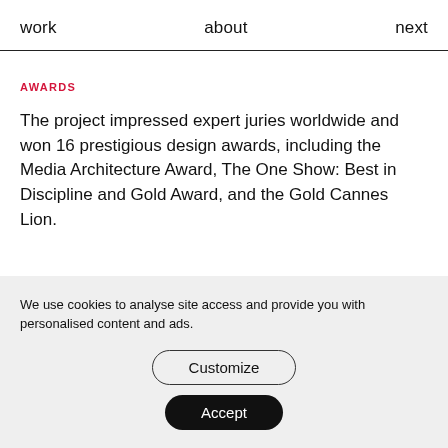work   about   next
AWARDS
The project impressed expert juries worldwide and won 16 prestigious design awards, including the Media Architecture Award, The One Show: Best in Discipline and Gold Award, and the Gold Cannes Lion.
We use cookies to analyse site access and provide you with personalised content and ads.
Customize
Accept